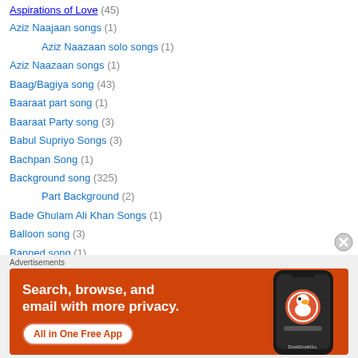Aspirations of Love (45)
Aziz Naajaan songs (1)
Aziz Naazaan solo songs (1)
Aziz Naazaan songs (1)
Baag/Bagiya song (43)
Baaraat part song (1)
Baaraat Party song (3)
Babul Supriyo Songs (3)
Bachpan Song (1)
Background song (325)
Part Background (2)
Bade Ghulam Ali Khan Songs (1)
Balloon song (3)
Banned song (1)
[Figure (infographic): DuckDuckGo advertisement banner with orange background showing phone mockup and text: Search, browse, and email with more privacy. All in One Free App.]